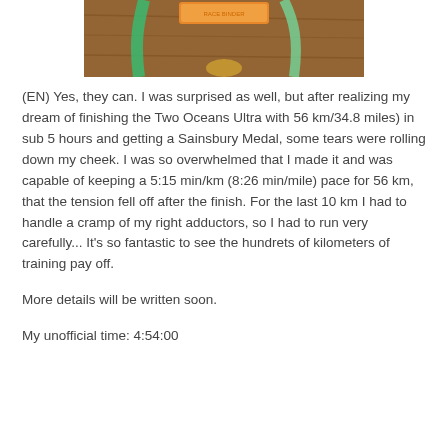[Figure (photo): A photo showing a race medal on a green lanyard/strap on a wooden surface, with an orange tag visible at the top.]
(EN) Yes, they can. I was surprised as well, but after realizing my dream of finishing the Two Oceans Ultra with 56 km/34.8 miles) in sub 5 hours and getting a Sainsbury Medal, some tears were rolling down my cheek. I was so overwhelmed that I made it and was capable of keeping a 5:15 min/km (8:26 min/mile) pace for 56 km, that the tension fell off after the finish. For the last 10 km I had to handle a cramp of my right adductors, so I had to run very carefully... It's so fantastic to see the hundrets of kilometers of training pay off.
More details will be written soon.
My unofficial time: 4:54:00